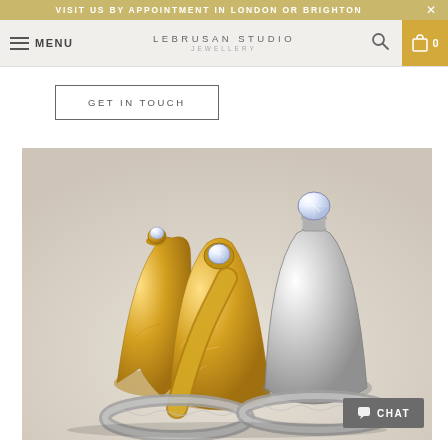VISIT US BY APPOINTMENT IN LONDON OR BRIGHTON
LEBRUSAN STUDIO JEWELLERY
GET IN TOUCH
[Figure (photo): Collection of diamond solitaire rings in gold and silver displayed upright, featuring textured and engraved bands with brilliant cut diamonds.]
CHAT